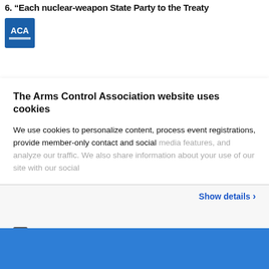6. "Each nuclear-weapon State Party to the Treaty
[Figure (logo): ACA (Arms Control Association) logo — blue square with white ACA text]
The Arms Control Association website uses cookies
We use cookies to personalize content, process event registrations, provide member-only contact and social media features, and analyze our traffic. We also share information about your use of our site with our social
Show details >
Do Not Sell My Personal Information
OK
Powered by Cookiebot by Usercentrics